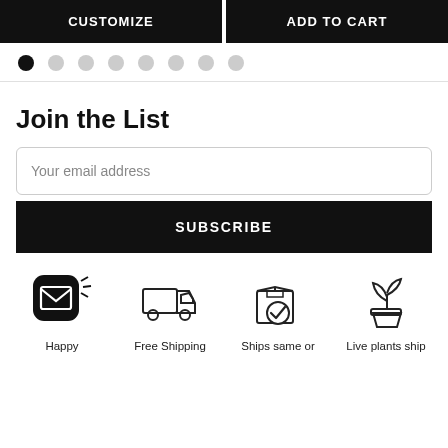CUSTOMIZE
ADD TO CART
[Figure (other): Pagination dots row: 8 dots, first one filled/active (black), remaining 7 are light grey]
Join the List
Your email address
SUBSCRIBE
[Figure (infographic): Four icons in a row: a black rounded-square envelope icon (Happy), a delivery truck outline icon (Free Shipping), a box with checkmark outline icon (Ships same or), a plant in a pot outline icon (Live plants ship)]
Happy
Free Shipping
Ships same or
Live plants ship